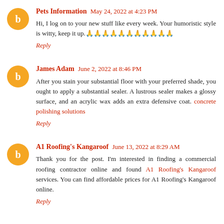Pets Information May 24, 2022 at 4:23 PM
Hi, I log on to your new stuff like every week. Your humoristic style is witty, keep it up.🙏🙏🙏🙏🙏🙏🙏🙏🙏🙏🙏
Reply
James Adam June 2, 2022 at 8:46 PM
After you stain your substantial floor with your preferred shade, you ought to apply a substantial sealer. A lustrous sealer makes a glossy surface, and an acrylic wax adds an extra defensive coat. concrete polishing solutions
Reply
A1 Roofing's Kangaroof June 13, 2022 at 8:29 AM
Thank you for the post. I'm interested in finding a commercial roofing contractor online and found A1 Roofing's Kangaroof services. You can find affordable prices for A1 Roofing's Kangaroof online.
Reply